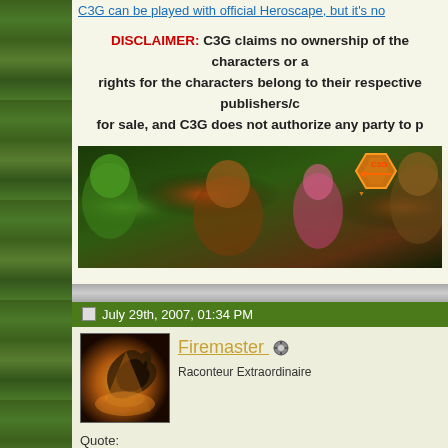C3G can be played with official Heroscape, but it's no
DISCLAIMER: C3G claims no ownership of the characters or a rights for the characters belong to their respective publishers/c for sale, and C3G does not authorize any party to p
[Figure (illustration): C3G banner image showing comic book superheroes and villains including Hulk, Spider-Man, Doctor Strange, Harley Quinn, and others with an orange C3G hexagonal logo]
July 29th, 2007, 01:34 PM
[Figure (photo): Forum user avatar showing a dragon symbol with fire/flame effect on dark background]
Firemaster
Raconteur Extraordinaire
Quote:
Originally Posted by IAmBatman
That's a good point, Hi1. We should probably get the creator nam